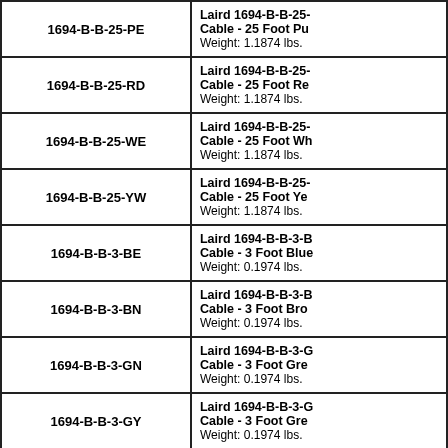| Part Number | Description |
| --- | --- |
| 1694-B-B-25-PE | Laird 1694-B-B-25-
Cable - 25 Foot Pu
Weight: 1.1874 lbs. |
| 1694-B-B-25-RD | Laird 1694-B-B-25-
Cable - 25 Foot Re
Weight: 1.1874 lbs. |
| 1694-B-B-25-WE | Laird 1694-B-B-25-
Cable - 25 Foot Wh
Weight: 1.1874 lbs. |
| 1694-B-B-25-YW | Laird 1694-B-B-25-
Cable - 25 Foot Ye
Weight: 1.1874 lbs. |
| 1694-B-B-3-BE | Laird 1694-B-B-3-B
Cable - 3 Foot Blue
Weight: 0.1974 lbs. |
| 1694-B-B-3-BN | Laird 1694-B-B-3-B
Cable - 3 Foot Bro
Weight: 0.1974 lbs. |
| 1694-B-B-3-GN | Laird 1694-B-B-3-G
Cable - 3 Foot Gre
Weight: 0.1974 lbs. |
| 1694-B-B-3-GY | Laird 1694-B-B-3-G
Cable - 3 Foot Gre
Weight: 0.1974 lbs. |